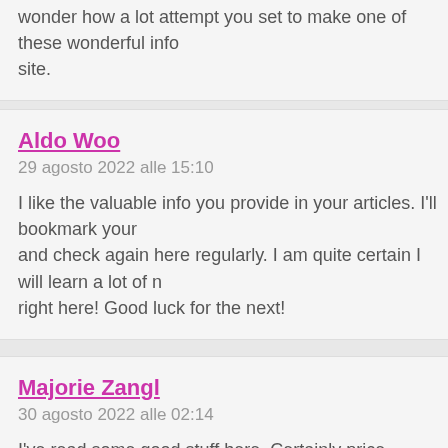wonder how a lot attempt you set to make one of these wonderful informative site.
Aldo Woo
29 agosto 2022 alle 15:10
I like the valuable info you provide in your articles. I'll bookmark your and check again here regularly. I am quite certain I will learn a lot of right here! Good luck for the next!
Majorie Zangl
30 agosto 2022 alle 02:14
I've read some good stuff here. Certainly price bookmarking for revisiting. I wonder how so much attempt you place to make this sort of fantastic informative site.
Mark Zieg
30 agosto 2022 alle 03:22
I am just writing to make you be aware of of the amazing experience